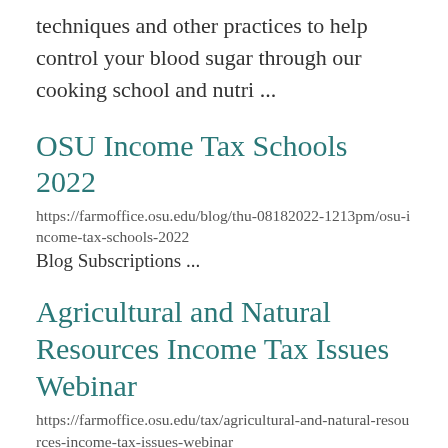techniques and other practices to help control your blood sugar through our cooking school and nutri ...
OSU Income Tax Schools 2022
https://farmoffice.osu.edu/blog/thu-08182022-1213pm/osu-income-tax-schools-2022
Blog Subscriptions ...
Agricultural and Natural Resources Income Tax Issues Webinar
https://farmoffice.osu.edu/tax/agricultural-and-natural-resources-income-tax-issues-webinar
...